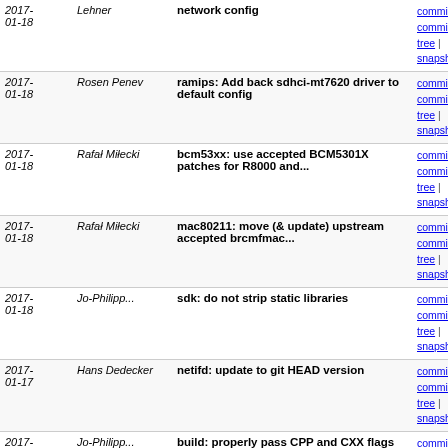| Date | Author | Message | Links |
| --- | --- | --- | --- |
| 2017-01-18 | Lehner | network config | commit | commitdiff | tree | snapshot |
| 2017-01-18 | Rosen Penev | ramips: Add back sdhci-mt7620 driver to default config | commit | commitdiff | tree | snapshot |
| 2017-01-18 | Rafał Miłecki | bcm53xx: use accepted BCM5301X patches for R8000 and... | commit | commitdiff | tree | snapshot |
| 2017-01-18 | Rafał Miłecki | mac80211: move (& update) upstream accepted brcmfmac... | commit | commitdiff | tree | snapshot |
| 2017-01-18 | Jo-Philipp... | sdk: do not strip static libraries | commit | commitdiff | tree | snapshot |
| 2017-01-17 | Hans Dedecker | netifd: update to git HEAD version | commit | commitdiff | tree | snapshot |
| 2017-01-17 | Jo-Philipp... | build: properly pass CPP and CXX flags in HOST_MAKE_VARS | commit | commitdiff | tree | snapshot |
| 2017-01-17 | Alexandru Ardelean | build: introduce default HOST_MAKE_VARS for host-builds | commit | commitdiff | tree | snapshot |
| 2017-01-16 | Alexandru Ardelean | tools/cmake: remove HOST_CONFIGURE_CMD and re-distribut... | commit | commitdiff | tree | snapshot |
| 2017-01-16 | Chris Blake | x86: add kernel module for sp5100_tco watchdog | commit | commitdiff | tree | snapshot |
| 2017- | Chris Blake | x86: Add sp5100_tco AMD... | commit |